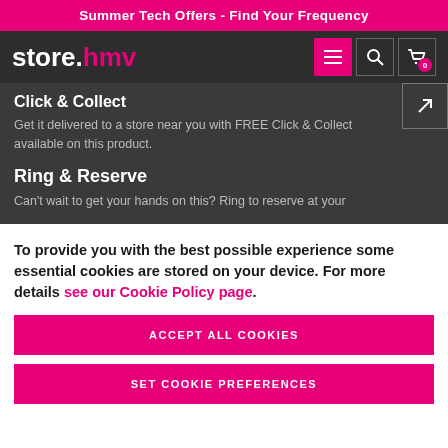Summer Tech Offers - Find Your Frequency
[Figure (screenshot): store.hmv logo with navigation icons (hamburger menu, search, cart with badge showing 0)]
Click & Collect
Get it delivered to a store near you with FREE Click & Collect available on this product.
Ring & Reserve
Can't wait to get your hands on this? Ring to reserve at your
To provide you with the best possible experience some essential cookies are stored on your device. For more details see our Cookie Policy page.
ACCEPT ALL COOKIES
SET COOKIE PREFERENCES